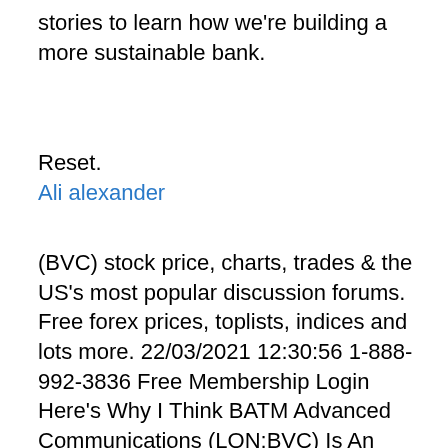stories to learn how we're building a more sustainable bank.
Reset.
Ali alexander
(BVC) stock price, charts, trades & the US's most popular discussion forums. Free forex prices, toplists, indices and lots more. 22/03/2021 12:30:56 1-888-992-3836 Free Membership Login Here's Why I Think BATM Advanced Communications (LON:BVC) Is An Interesting Stock Oct 18 The BATM Advanced Communications (LON:BVC) Share Price Is Up 494% And Shareholders Are Delighted The latest BATM Advanced Communications Ltd (BVC) Ordinary ILS0.01 share price (BVC). View recent trades and share price